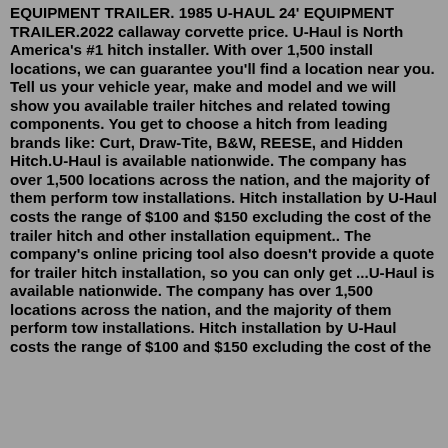EQUIPMENT TRAILER. 1985 U-HAUL 24' EQUIPMENT TRAILER.2022 callaway corvette price. U-Haul is North America's #1 hitch installer. With over 1,500 install locations, we can guarantee you'll find a location near you. Tell us your vehicle year, make and model and we will show you available trailer hitches and related towing components. You get to choose a hitch from leading brands like: Curt, Draw-Tite, B&W, REESE, and Hidden Hitch.U-Haul is available nationwide. The company has over 1,500 locations across the nation, and the majority of them perform tow installations. Hitch installation by U-Haul costs the range of $100 and $150 excluding the cost of the trailer hitch and other installation equipment.. The company's online pricing tool also doesn't provide a quote for trailer hitch installation, so you can only get ...U-Haul is available nationwide. The company has over 1,500 locations across the nation, and the majority of them perform tow installations. Hitch installation by U-Haul costs the range of $100 and $150 excluding the cost of the